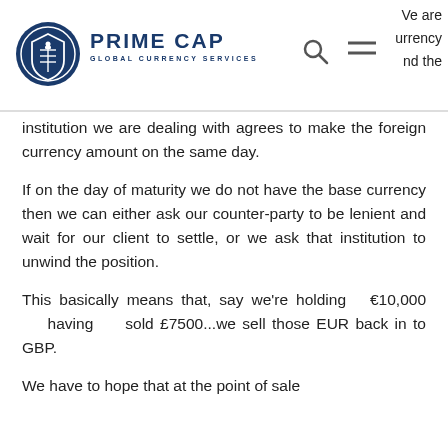PRIME CAP GLOBAL CURRENCY SERVICES
Ve are currency nd the institution we are dealing with agrees to make the foreign currency amount on the same day.
If on the day of maturity we do not have the base currency then we can either ask our counter-party to be lenient and wait for our client to settle, or we ask that institution to unwind the position.
This basically means that, say we're holding €10,000 having sold £7500...we sell those EUR back in to GBP.
We have to hope that at the point of sale